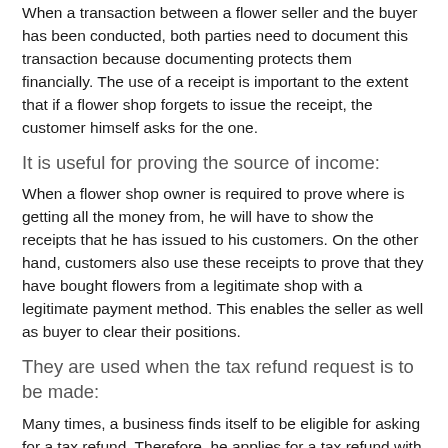When a transaction between a flower seller and the buyer has been conducted, both parties need to document this transaction because documenting protects them financially. The use of a receipt is important to the extent that if a flower shop forgets to issue the receipt, the customer himself asks for the one.
It is useful for proving the source of income:
When a flower shop owner is required to prove where is getting all the money from, he will have to show the receipts that he has issued to his customers. On the other hand, customers also use these receipts to prove that they have bought flowers from a legitimate shop with a legitimate payment method. This enables the seller as well as buyer to clear their positions.
They are used when the tax refund request is to be made:
Many times, a business finds itself to be eligible for asking for a tax refund. Therefore, he applies for a tax refund with the proof of income it has been generating. Prove is usually given by the receipts that show the